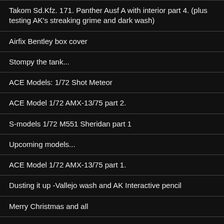Takom Sd.Kfz. 171. Panther Ausf A with interior part 4. (plus testing AK's streaking grime and dark wash)
Airfix Bentley box cover
Stompy the tank...
ACE Models: 1/72 Shot Meteor
ACE Model 1/72 AMX-13/75 part 2.
S-models 1/72 M551 Sheridan part 1
Upcoming models...
ACE Model 1/72 AMX-13/75 part 1.
Dusting it up -Vallejo wash and AK Interactive pencil
Merry Christmas and all
Trumpeter 1/72 IS-7
Modelcollect 1/72 Waffentrager Ausf. E-100 with 128mm gun